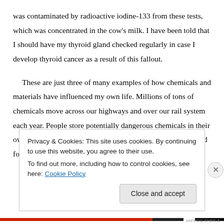was contaminated by radioactive iodine-133 from these tests, which was concentrated in the cow's milk. I have been told that I should have my thyroid gland checked regularly in case I develop thyroid cancer as a result of this fallout.
These are just three of many examples of how chemicals and materials have influenced my own life. Millions of tons of chemicals move across our highways and over our rail system each year. People store potentially dangerous chemicals in their own homes without much understanding of what they are used for or how to handle them safely.
Privacy & Cookies: This site uses cookies. By continuing to use this website, you agree to their use.
To find out more, including how to control cookies, see here: Cookie Policy
HIPPOC THES A